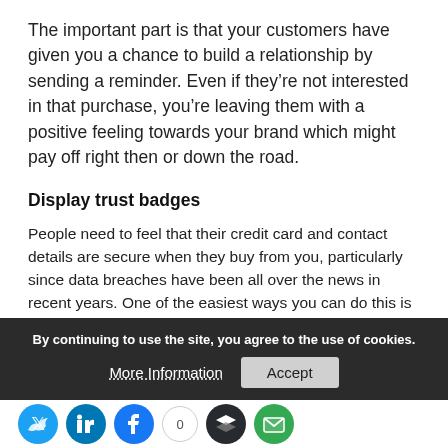The important part is that your customers have given you a chance to build a relationship by sending a reminder. Even if they’re not interested in that purchase, you’re leaving them with a positive feeling towards your brand which might pay off right then or down the road.
Display trust badges
People need to feel that their credit card and contact details are secure when they buy from you, particularly since data breaches have been all over the news in recent years. One of the easiest ways you can do this is by displaying trust badges on your site. If Symantec gives your site the co-sign, then people…
By continuing to use the site, you agree to the use of cookies.
More Information
Accept